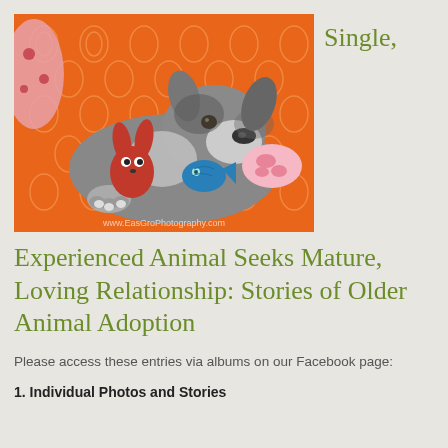[Figure (photo): A gray and white pit bull dog lying on an orange patterned blanket, surrounded by colorful stuffed animal toys including a red rabbit and a teal fish. Photo credit: www.EasGroPhotography.com]
Single,
Experienced Animal Seeks Mature, Loving Relationship: Stories of Older Animal Adoption
Please access these entries via albums on our Facebook page:
1. Individual Photos and Stories